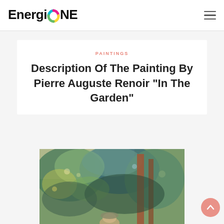EnergiONE [logo]
PAINTINGS
Description Of The Painting By Pierre Auguste Renoir "In The Garden"
[Figure (photo): Renoir impressionist painting 'In The Garden' showing figures among lush green garden foliage with dappled colors]